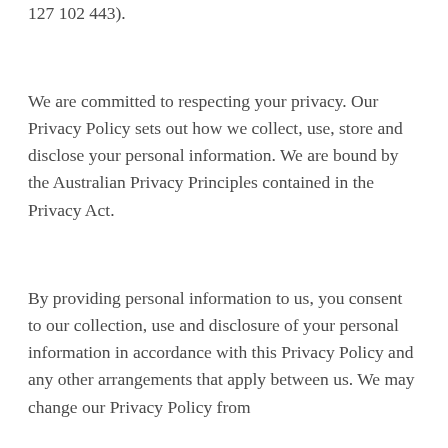127 102 443).
We are committed to respecting your privacy. Our Privacy Policy sets out how we collect, use, store and disclose your personal information. We are bound by the Australian Privacy Principles contained in the Privacy Act.
By providing personal information to us, you consent to our collection, use and disclosure of your personal information in accordance with this Privacy Policy and any other arrangements that apply between us. We may change our Privacy Policy from